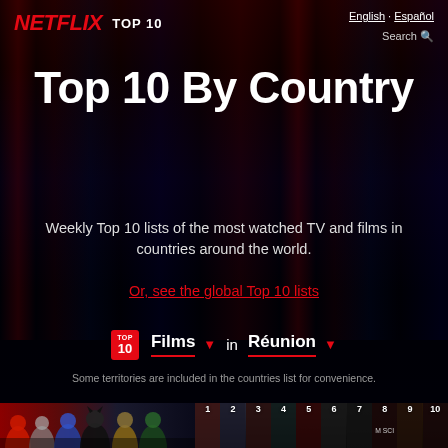NETFLIX TOP 10 | English · Español | Search
Top 10 By Country
Weekly Top 10 lists of the most watched TV and films in countries around the world.
Or, see the global Top 10 lists
Films in Réunion
Some territories are included in the countries list for convenience.
[Figure (screenshot): Row of movie thumbnails numbered 1-10, with a large Justice League promotional image on the left showing superhero characters, followed by smaller numbered thumbnail images for positions 1 through 10.]